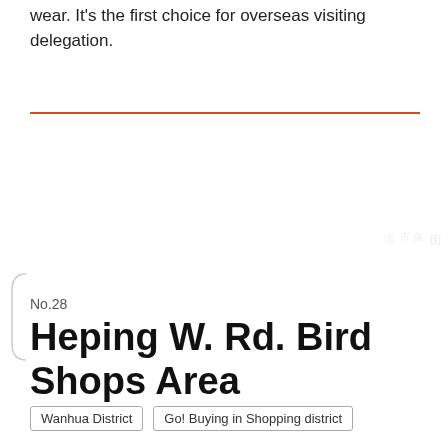wear. It's the first choice for overseas visiting delegation.
No.28
Heping W. Rd. Bird Shops Area
Wanhua District
Go! Buying in Shopping district